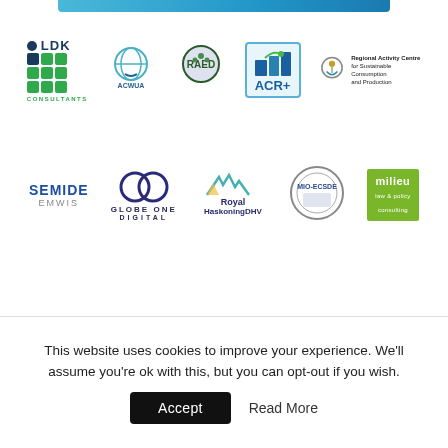[Figure (logo): Blue banner/header strip at top]
[Figure (logo): Row of partner logos: LDK Consultants, ACWUA, RAED, ACR+, Regional Activity Centre for Sustainable Consumption and Production]
[Figure (logo): Row of partner logos: SEMIDE EMWIS, Globe One Digital, Royal HaskoningDHV, MIO-ECSDE, milieu]
This website uses cookies to improve your experience. We'll assume you're ok with this, but you can opt-out if you wish.
Accept
Read More